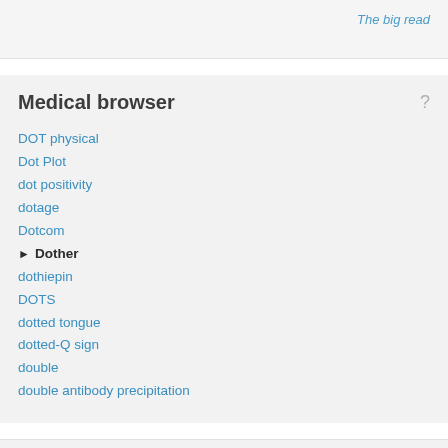The big read
Medical browser
DOT physical
Dot Plot
dot positivity
dotage
Dotcom
▶ Dother
dothiepin
DOTS
dotted tongue
dotted-Q sign
double
double antibody precipitation
Full browser